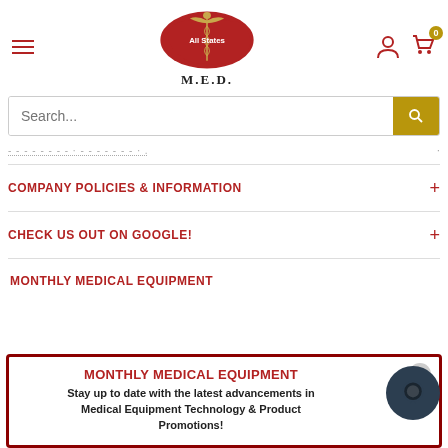[Figure (logo): All States M.E.D. logo with red USA map shape and medical caduceus symbol]
COMPANY POLICIES & INFORMATION
CHECK US OUT ON GOOGLE!
MONTHLY MEDICAL EQUIPMENT
[Figure (infographic): Popup modal with red border titled MONTHLY MEDICAL EQUIPMENT with tagline: Stay up to date with the latest advancements in Medical Equipment Technology & Product Promotions!]